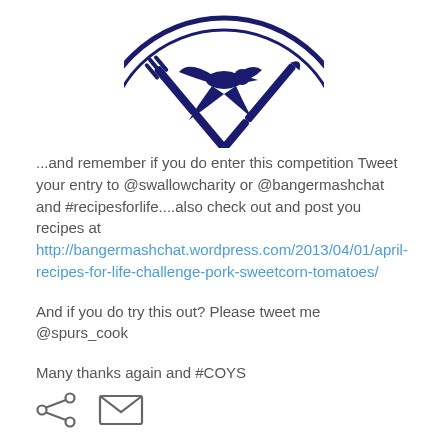[Figure (logo): Partial circular logo with dark navy blue color showing crossed utensils (fork and knife) and a swallow bird in the center, with double concentric ring border — top portion only visible]
...and remember if you do enter this competition Tweet your entry to @swallowcharity or @bangermashchat and #recipesforlife....also check out and post you recipes at http://bangermashchat.wordpress.com/2013/04/01/april-recipes-for-life-challenge-pork-sweetcorn-tomatoes/
And if you do try this out? Please tweet me @spurs_cook
Many thanks again and #COYS
[Figure (illustration): Share icon (less-than symbol with three dots) and email/envelope icon in dark gray at bottom left]